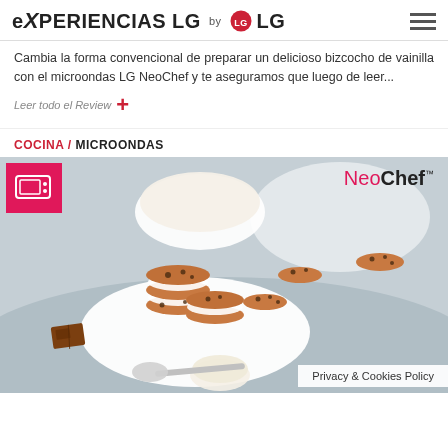EXPERIENCIAS LG by LG
Cambia la forma convencional de preparar un delicioso bizcocho de vainilla con el microondas LG NeoChef y te aseguramos que luego de leer...
Leer todo el Review +
COCINA / MICROONDAS
[Figure (photo): Photo of chocolate chip cookie ice cream sandwiches stacked on a white plate with a scoop of ice cream, chocolate pieces, and loose cookies on a light background. Has NeoChef brand logo top right and a pink microwave icon badge top left.]
Privacy & Cookies Policy